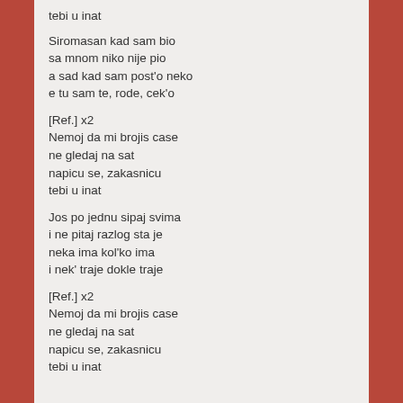tebi u inat
Siromasan kad sam bio
sa mnom niko nije pio
a sad kad sam post'o neko
e tu sam te, rode, cek'o
[Ref.] x2
Nemoj da mi brojis case
ne gledaj na sat
napicu se, zakasnicu
tebi u inat
Jos po jednu sipaj svima
i ne pitaj razlog sta je
neka ima kol'ko ima
i nek' traje dokle traje
[Ref.] x2
Nemoj da mi brojis case
ne gledaj na sat
napicu se, zakasnicu
tebi u inat